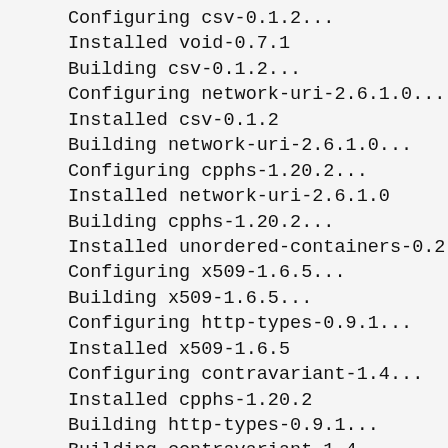Configuring csv-0.1.2...
Installed void-0.7.1
Building csv-0.1.2...
Configuring network-uri-2.6.1.0...
Installed csv-0.1.2
Building network-uri-2.6.1.0...
Configuring cpphs-1.20.2...
Installed network-uri-2.6.1.0
Building cpphs-1.20.2...
Installed unordered-containers-0.2.7.
Configuring x509-1.6.5...
Building x509-1.6.5...
Configuring http-types-0.9.1...
Installed x509-1.6.5
Configuring contravariant-1.4...
Installed cpphs-1.20.2
Building http-types-0.9.1...
Building contravariant-1.4...
Configuring attoparsec-0.13.1.0...